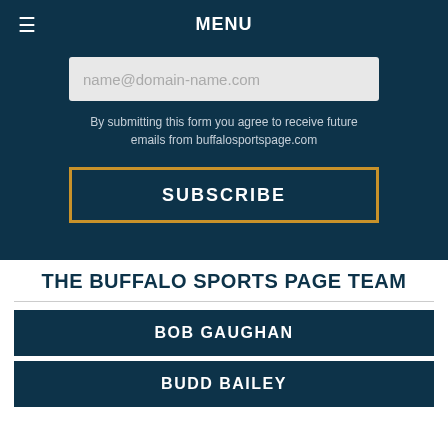MENU
name@domain-name.com
By submitting this form you agree to receive future emails from buffalosportspage.com
SUBSCRIBE
THE BUFFALO SPORTS PAGE TEAM
BOB GAUGHAN
BUDD BAILEY